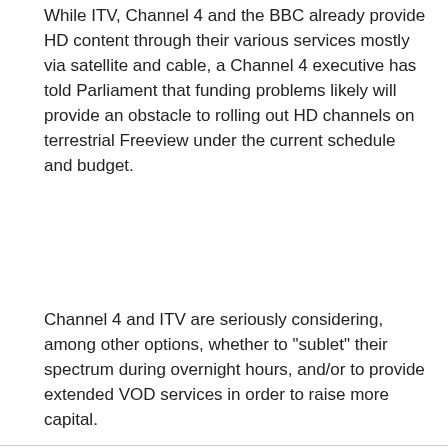While ITV, Channel 4 and the BBC already provide HD content through their various services mostly via satellite and cable, a Channel 4 executive has told Parliament that funding problems likely will provide an obstacle to rolling out HD channels on terrestrial Freeview under the current schedule and budget.
Channel 4 and ITV are seriously considering, among other options, whether to "sublet" their spectrum during overnight hours, and/or to provide extended VOD services in order to raise more capital.
[Figure (other): Advertisement placeholder box with light gray background and 'Advertisement' label text centered at the top.]